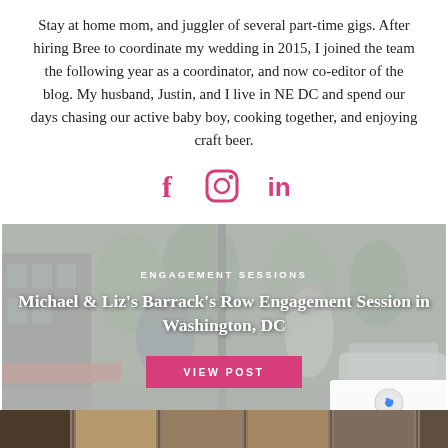Stay at home mom, and juggler of several part-time gigs. After hiring Bree to coordinate my wedding in 2015, I joined the team the following year as a coordinator, and now co-editor of the blog. My husband, Justin, and I live in NE DC and spend our days chasing our active baby boy, cooking together, and enjoying craft beer.
[Figure (other): Social media icons: Facebook (f), Instagram (circle with camera), LinkedIn (in) — all in pink/magenta color]
[Figure (photo): Engagement photo of couple Michael and Liz on Barrack's Row street in Washington DC. Urban street scene with buildings and trees in background. Overlaid with category label ENGAGEMENT SESSIONS, title text, and a pink VIEW POST button.]
[Figure (photo): Partial bottom strip showing another photo, cut off at page bottom.]